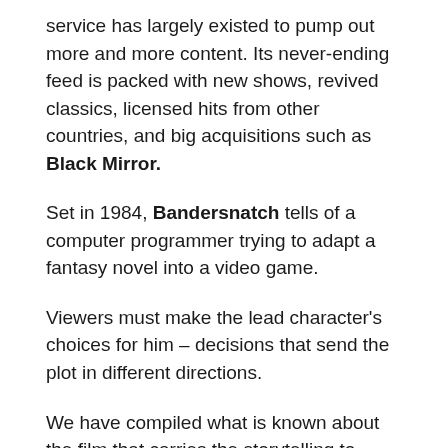service has largely existed to pump out more and more content. Its never-ending feed is packed with new shows, revived classics, licensed hits from other countries, and big acquisitions such as Black Mirror.
Set in 1984, Bandersnatch tells of a computer programmer trying to adapt a fantasy novel into a video game.
Viewers must make the lead character's choices for him – decisions that send the plot in different directions.
We have compiled what is known about the film that carries the storytelling to another dimension.
7   Trailer viewed millions of times